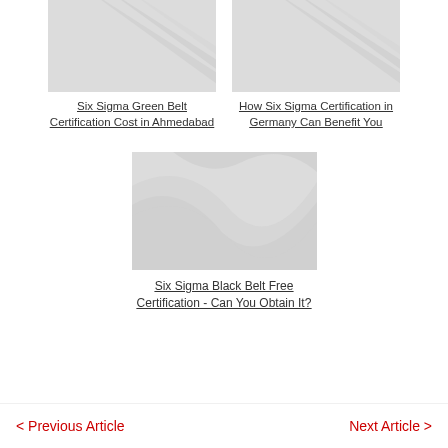[Figure (photo): Placeholder image with diagonal swoosh pattern for Six Sigma Green Belt Certification Cost in Ahmedabad article]
Six Sigma Green Belt Certification Cost in Ahmedabad
[Figure (photo): Placeholder image with diagonal swoosh pattern for How Six Sigma Certification in Germany Can Benefit You article]
How Six Sigma Certification in Germany Can Benefit You
[Figure (photo): Placeholder image with swoosh pattern for Six Sigma Black Belt Free Certification article]
Six Sigma Black Belt Free Certification - Can You Obtain It?
< Previous Article    Next Article >